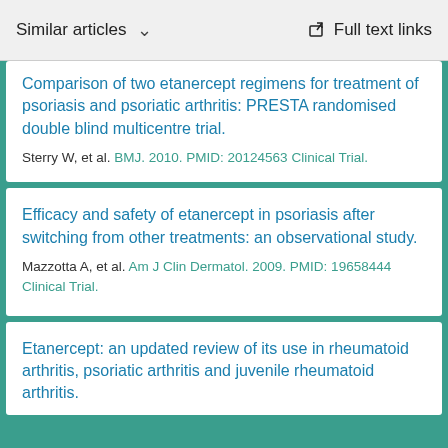Similar articles   Full text links
Comparison of two etanercept regimens for treatment of psoriasis and psoriatic arthritis: PRESTA randomised double blind multicentre trial.
Sterry W, et al. BMJ. 2010. PMID: 20124563 Clinical Trial.
Efficacy and safety of etanercept in psoriasis after switching from other treatments: an observational study.
Mazzotta A, et al. Am J Clin Dermatol. 2009. PMID: 19658444 Clinical Trial.
Etanercept: an updated review of its use in rheumatoid arthritis, psoriatic arthritis and juvenile rheumatoid arthritis.